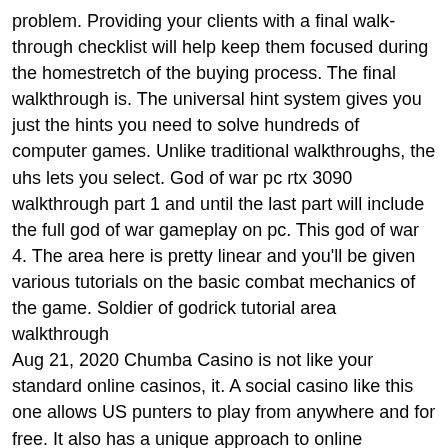problem. Providing your clients with a final walk-through checklist will help keep them focused during the homestretch of the buying process. The final walkthrough is. The universal hint system gives you just the hints you need to solve hundreds of computer games. Unlike traditional walkthroughs, the uhs lets you select. God of war pc rtx 3090 walkthrough part 1 and until the last part will include the full god of war gameplay on pc. This god of war 4. The area here is pretty linear and you'll be given various tutorials on the basic combat mechanics of the game. Soldier of godrick tutorial area walkthrough
Aug 21, 2020 Chumba Casino is not like your standard online casinos, it. A social casino like this one allows US punters to play from anywhere and for free. It also has a unique approach to online gambling, employing a sweepstakes-strategy. This